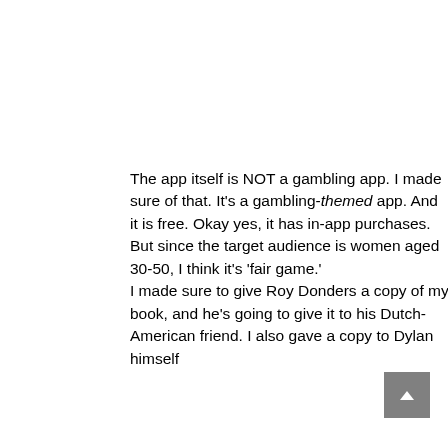The app itself is NOT a gambling app. I made sure of that. It's a gambling-themed app. And it is free. Okay yes, it has in-app purchases. But since the target audience is women aged 30-50, I think it's 'fair game.' I made sure to give Roy Donders a copy of my book, and he's going to give it to his Dutch-American friend. I also gave a copy to Dylan himself